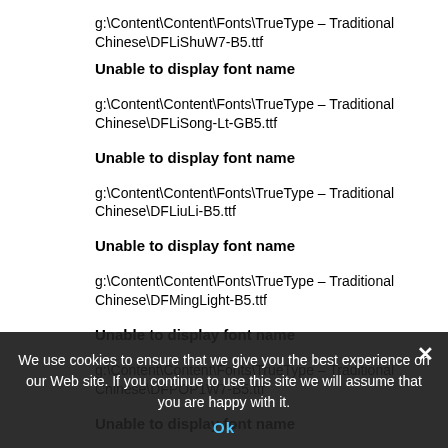g:\Content\Content\Fonts\TrueType – Traditional Chinese\DFLiShuW7-B5.ttf
Unable to display font name
g:\Content\Content\Fonts\TrueType – Traditional Chinese\DFLiSong-Lt-GB5.ttf
Unable to display font name
g:\Content\Content\Fonts\TrueType – Traditional Chinese\DFLiuLi-B5.ttf
Unable to display font name
g:\Content\Content\Fonts\TrueType – Traditional Chinese\DFMingLight-B5.ttf
Unable to display font name
g:\Content\Content\Fonts\TrueType – Traditional Chinese\DFPOP1W7-B5.ttf
Unable to display font name
g:\Content\Content\Fonts\TrueType – Traditional Chinese\DFPOP1W9-B5.ttf
Unable to display font name
g:\Content\Content\Fonts\TrueType – Traditional Chinese\DFSoZing-B5.ttf